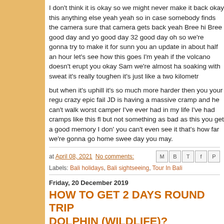I don't think it is okay so we might never make it back okay this anything else yeah yeah so in case somebody finds the camera sure that camera gets back yeah Bree hi Bree good day and yo good day 32 good day oh so we're gonna try to make it for sunn you an update in about half an hour let's see how this goes I'm yeah if the volcano doesn't erupt you okay Sam we're almost ha soaking with sweat it's really toughen it's just like a two kilometr
but when it's uphill it's so much more harder then you your regu crazy epic fail JD is having a massive cramp and he can't walk worst camper I've ever had in my life I've had cramps like this fl but not something as bad as this you get a good memory I don' you can't even see it that's how far we're gonna go home swee day you may.
at April 08, 2021  No comments:
Labels: Bali holidays, Bali sightseeing, Tour In Bali
Friday, 20 December 2019
HOW TO GET 2 DAYS ROUND TRIP DOLPHIN (WILDLIFE)?